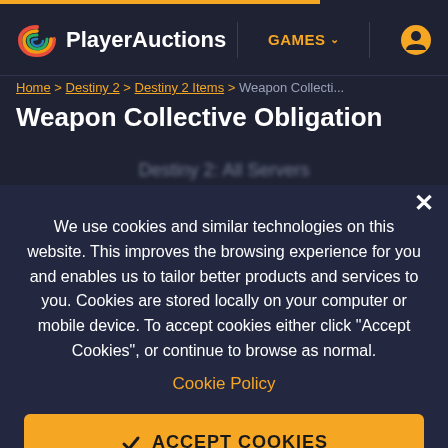PlayerAuctions — GAMES
Home > Destiny 2 > Destiny 2 Items > Weapon Collecti...
Weapon Collective Obligation
Destiny 2: All Servers
We use cookies and similar technologies on this website. This improves the browsing experience for you and enables us to tailor better products and services to you. Cookies are stored locally on your computer or mobile device. To accept cookies either click "Accept Cookies", or continue to browse as normal.
Cookie Policy
ACCEPT COOKIES
Cookie Settings and Details